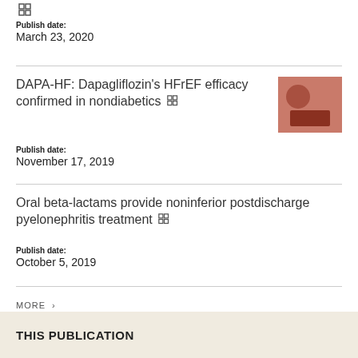[Figure (other): Grid/table icon at top]
Publish date:
March 23, 2020
DAPA-HF: Dapagliflozin's HFrEF efficacy confirmed in nondiabetics [grid icon]
Publish date:
November 17, 2019
Oral beta-lactams provide noninferior postdischarge pyelonephritis treatment [grid icon]
Publish date:
October 5, 2019
MORE >
THIS PUBLICATION